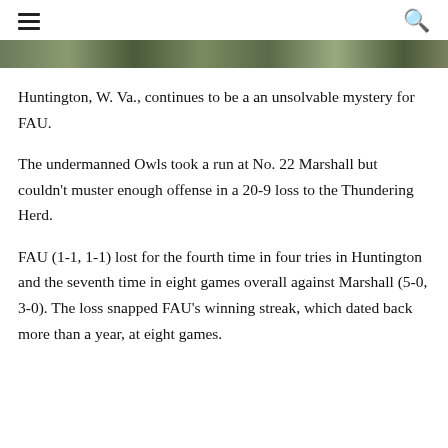[Figure (photo): Partial photo strip visible at top of page, appears to be an outdoor/sports image]
Huntington, W. Va., continues to be a an unsolvable mystery for FAU.
The undermanned Owls took a run at No. 22 Marshall but couldn't muster enough offense in a 20-9 loss to the Thundering Herd.
FAU (1-1, 1-1) lost for the fourth time in four tries in Huntington and the seventh time in eight games overall against Marshall (5-0, 3-0). The loss snapped FAU's winning streak, which dated back more than a year, at eight games.